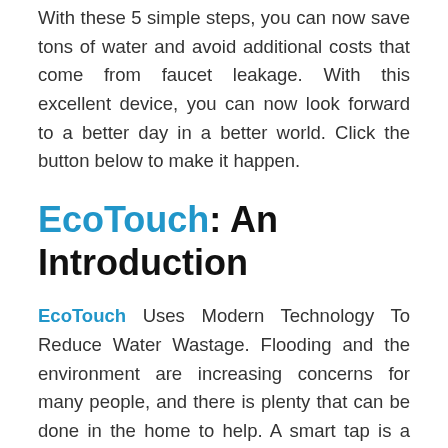With these 5 simple steps, you can now save tons of water and avoid additional costs that come from faucet leakage. With this excellent device, you can now look forward to a better day in a better world. Click the button below to make it happen.
EcoTouch: An Introduction
EcoTouch Uses Modern Technology To Reduce Water Wastage. Flooding and the environment are increasing concerns for many people, and there is plenty that can be done in the home to help. A smart tap is a solution that many people are turning to, with EcoTouch being a leading brand.
Because water bills are on the rise, there has never been a better time to control the level you are using and make